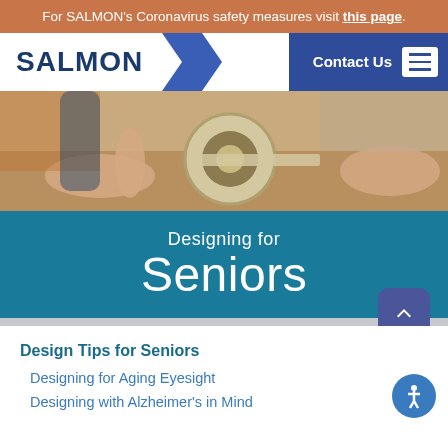For SALMON's Coronavirus safety measures visit this page.
[Figure (logo): SALMON logo in dark blue text with navigation bar including Contact Us button and hamburger menu]
[Figure (photo): Hands applying tape or flooring material, close-up photo]
Designing for Seniors
Design Tips for Seniors
Designing for Aging Eyesight
Designing with Alzheimer's in Mind